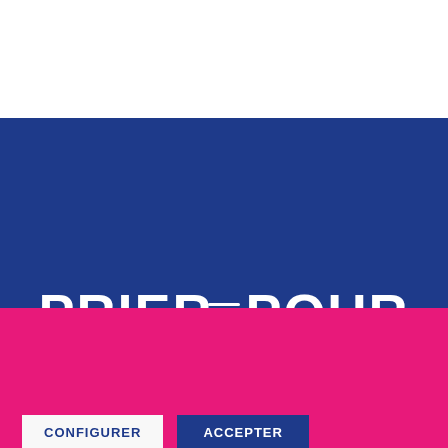[Figure (screenshot): White top area of a website header]
[Figure (screenshot): Dark blue navigation bar with hamburger menu icon (three horizontal white lines) centered]
PRIER_POUR
Nous utilisons des cookies pour vous offrir l'expérience la plus pertinente en mémorisant vos préférences. En cliquant sur « Tout accepter », vous consentez à l'utilisation de TOUS les cookies.
CONFIGURER
ACCEPTER